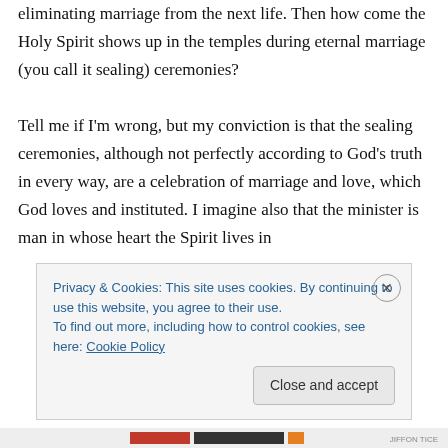eliminating marriage from the next life. Then how come the Holy Spirit shows up in the temples during eternal marriage (you call it sealing) ceremonies?

Tell me if I'm wrong, but my conviction is that the sealing ceremonies, although not perfectly according to God's truth in every way, are a celebration of marriage and love, which God loves and instituted. I imagine also that the minister is man in whose heart the Spirit lives in
Privacy & Cookies: This site uses cookies. By continuing to use this website, you agree to their use.
To find out more, including how to control cookies, see here: Cookie Policy